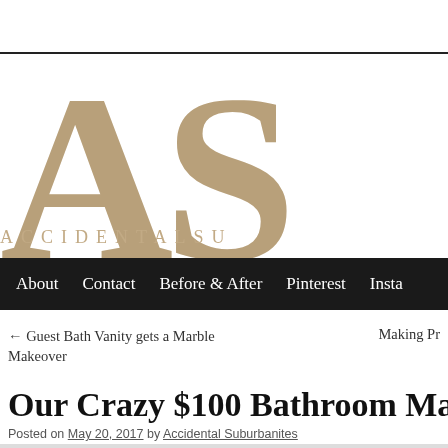[Figure (logo): Accidental Suburbanites blog logo — large tan/gold serif letters 'AS' with 'ACCIDENTALSU...' text beneath, on white background with black top rule]
About   Contact   Before & After   Pinterest   Insta...
← Guest Bath Vanity gets a Marble Makeover    Making Pr...
Our Crazy $100 Bathroom Makeov...
Posted on May 20, 2017 by Accidental Suburbanites